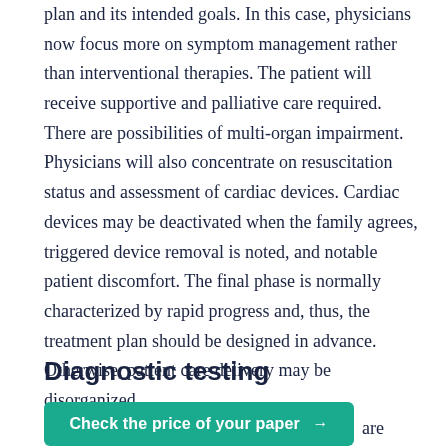plan and its intended goals. In this case, physicians now focus more on symptom management rather than interventional therapies. The patient will receive supportive and palliative care required. There are possibilities of multi-organ impairment. Physicians will also concentrate on resuscitation status and assessment of cardiac devices. Cardiac devices may be deactivated when the family agrees, triggered device removal is noted, and notable patient discomfort. The final phase is normally characterized by rapid progress and, thus, the treatment plan should be designed in advance. Otherwise, patient care delivery may be disorganized.
Diagnostic testing
are available for